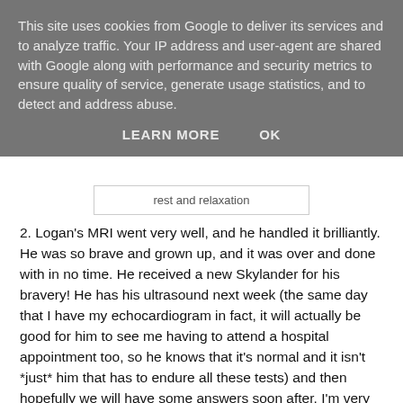This site uses cookies from Google to deliver its services and to analyze traffic. Your IP address and user-agent are shared with Google along with performance and security metrics to ensure quality of service, generate usage statistics, and to detect and address abuse.
LEARN MORE   OK
rest and relaxation
2. Logan's MRI went very well, and he handled it brilliantly. He was so brave and grown up, and it was over and done with in no time. He received a new Skylander for his bravery! He has his ultrasound next week (the same day that I have my echocardiogram in fact, it will actually be good for him to see me having to attend a hospital appointment too, so he knows that it's normal and it isn't *just* him that has to endure all these tests) and then hopefully we will have some answers soon after. I'm very proud of my brave boy.
3. The house is still standing, and none of the children were misplaced in my absence. It was hard to leave them, and to be away, but it is actually comforting to know that the